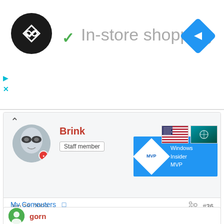[Figure (screenshot): Ad banner with logo, checkmark, and 'In-store shopping' text with navigation icon]
[Figure (screenshot): Forum post by user 'Brink' with Staff member badge, Windows Insider MVP badge, US flag, date Jun 28 2009, post #36]
Hello Gorn, and welcome to Vista Forums.
Wow, now that is a record. Did you not run the SP1 Disk Cleanup Tool before? If not, then that may be why you had more free space after running the SP2 cleanup tool.
My Computers
gorn